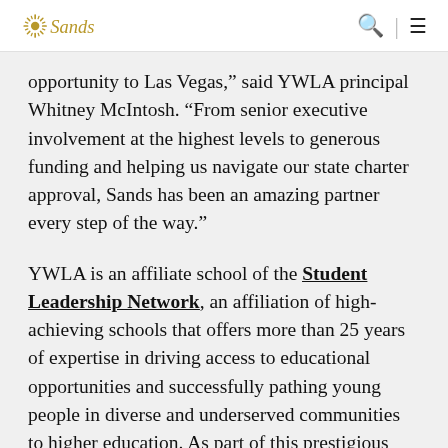Sands
opportunity to Las Vegas,” said YWLA principal Whitney McIntosh. “From senior executive involvement at the highest levels to generous funding and helping us navigate our state charter approval, Sands has been an amazing partner every step of the way.”
YWLA is an affiliate school of the Student Leadership Network, an affiliation of high-achieving schools that offers more than 25 years of expertise in driving access to educational opportunities and successfully pathing young people in diverse and underserved communities to higher education. As part of this prestigious network, YWLA will provide rigorous, college-preparatory academics fused with nationally